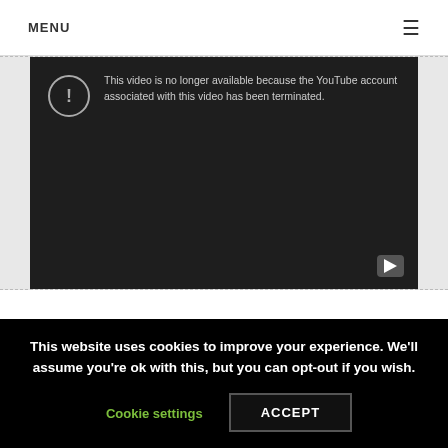MENU ☰
[Figure (screenshot): YouTube video player showing error: 'This video is no longer available because the YouTube account associated with this video has been terminated.']
Someone wants the case reopened, and they want Wexford proved wrong. Guns, God and more Guns...
This website uses cookies to improve your experience. We'll assume you're ok with this, but you can opt-out if you wish.
Cookie settings  ACCEPT